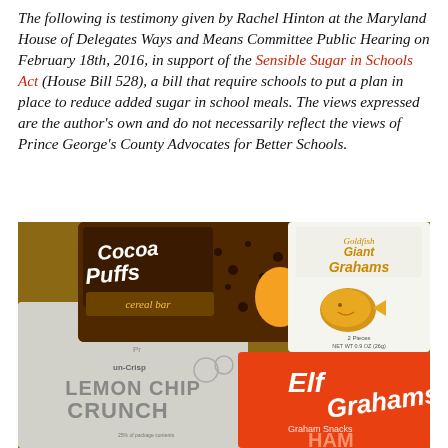The following is testimony given by Rachel Hinton at the Maryland House of Delegates Ways and Means Committee Public Hearing on February 18th, 2016, in support of the Sensible Sugar in Schools Act (House Bill 528), a bill that require schools to put a plan in place to reduce added sugar in school meals. The views expressed are the author's own and do not necessarily reflect the views of Prince George's County Advocates for Better Schools.
[Figure (photo): Photo of snack food packages on a table: a Cocoa Puffs cereal bar, Goldfish Giant Grahams, a Lemon Chip Crunch package, and Elf Grahams Graham Snacks.]